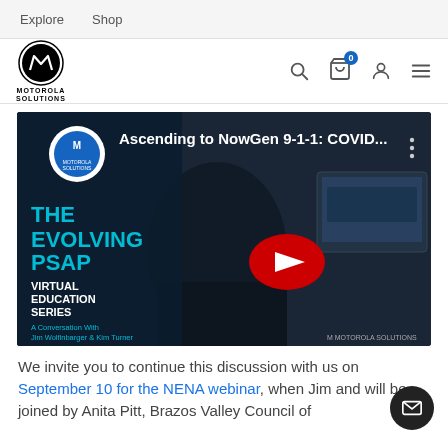Explore  Shop
[Figure (logo): Motorola Solutions logo with circular M emblem and MOTOROLA SOLUTIONS text below]
[Figure (screenshot): YouTube video thumbnail: 'Ascending to NowGen 9-1-1: COVID...' — The Evolving PSAP Virtual Education Series, A Conversation With Jim Wolfinbarger & Kim Turner. Shows a woman at a dispatch console with monitors displaying maps. Motorola Solutions branding.]
We invite you to continue this discussion with us on September 10 for the NENA webinar, when Jim and will be joined by Anita Pitt, Brazos Valley Council of